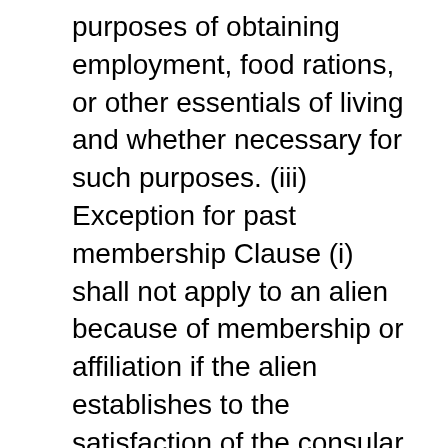purposes of obtaining employment, food rations, or other essentials of living and whether necessary for such purposes. (iii) Exception for past membership Clause (i) shall not apply to an alien because of membership or affiliation if the alien establishes to the satisfaction of the consular officer when applying for a visa (or to the satisfaction of the Attorney General when applying for admission) that— (I) the membership or affiliation terminated at least— (a) 2 years before the date of such application, or (b) 5 years before the date of such application, in the case of an